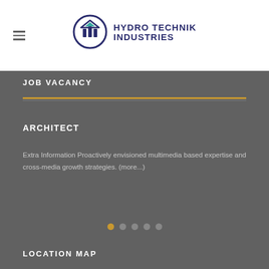[Figure (logo): Hydro Technik Industries logo with circular icon and bold text]
JOB VACANCY
ARCHITECT
Extra Information Proactively envisioned multimedia based expertise and cross-media growth strategies. (more...)
LOCATION MAP